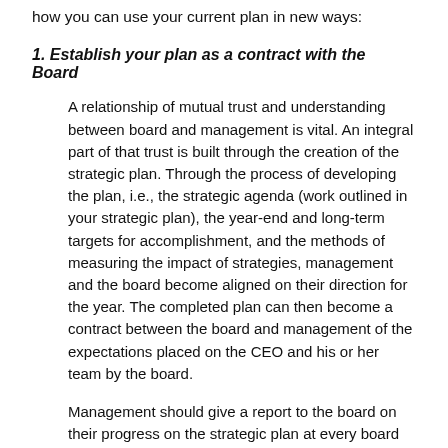how you can use your current plan in new ways:
1. Establish your plan as a contract with the Board
A relationship of mutual trust and understanding between board and management is vital. An integral part of that trust is built through the creation of the strategic plan. Through the process of developing the plan, i.e., the strategic agenda (work outlined in your strategic plan), the year-end and long-term targets for accomplishment, and the methods of measuring the impact of strategies, management and the board become aligned on their direction for the year. The completed plan can then become a contract between the board and management of the expectations placed on the CEO and his or her team by the board.
Management should give a report to the board on their progress on the strategic plan at every board